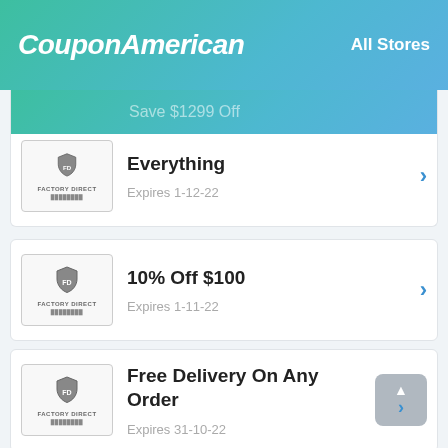CouponAmerican | All Stores
Save $1299 Off Everything
Expires 1-12-22
10% Off $100
Expires 1-11-22
Free Delivery On Any Order
Expires 31-10-22